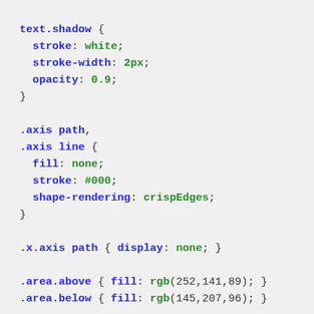text.shadow {
  stroke: white;
  stroke-width: 2px;
  opacity: 0.9;
}

.axis path,
.axis line {
  fill: none;
  stroke: #000;
  shape-rendering: crispEdges;
}

.x.axis path { display: none; }

.area.above { fill: rgb(252,141,89); }
.area.below { fill: rgb(145,207,96); }